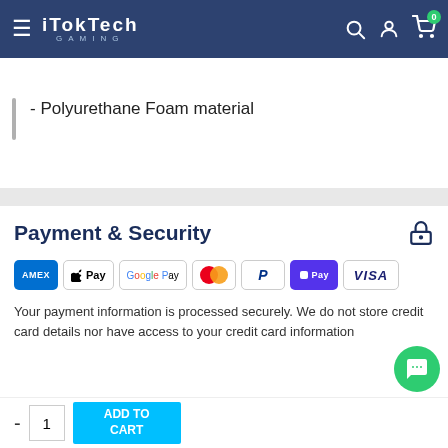iTokTech Gaming — navigation header
- Polyurethane Foam material
Payment & Security
[Figure (logo): Payment method logos: American Express, Apple Pay, Google Pay, Mastercard, PayPal, Shop Pay, Visa]
Your payment information is processed securely. We do not credit card details nor have access to your credit card information